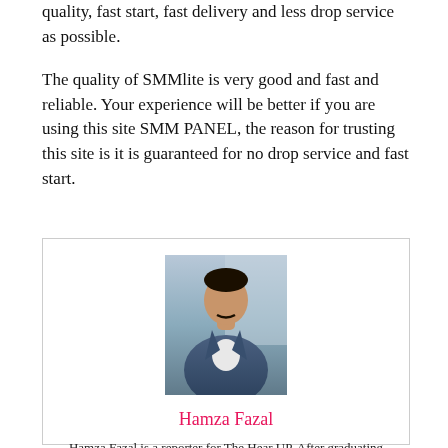quality, fast start, fast delivery and less drop service as possible.
The quality of SMMlite is very good and fast and reliable. Your experience will be better if you are using this site SMM PANEL, the reason for trusting this site is it is guaranteed for no drop service and fast start.
[Figure (photo): Portrait photo of Hamza Fazal, a man in a blue plaid blazer with a white shirt, standing in front of a light background]
Hamza Fazal
Hamza Fazal is a reporter for The Hear UP. After graduating from the University of Abbottabad, Hamza got an internship at the NBP and worked as a reporter and producer. Hamza has also